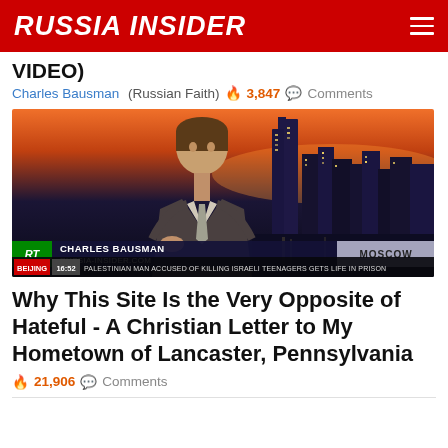RUSSIA INSIDER
VIDEO)
Charles Bausman  (Russian Faith)  🔥 3,847  💬 Comments
[Figure (screenshot): Video thumbnail showing Charles Bausman on RT (Russia Today) news channel with Moscow city skyline in background at sunset. Lower third graphic reads: RT logo | CHARLES BAUSMAN / RUSSIA-INSIDER.COM | MOSCOW. Ticker at bottom reads: BEIJING 16:52 PALESTINIAN MAN ACCUSED OF KILLING ISRAELI TEENAGERS GETS LIFE IN PRISON]
Why This Site Is the Very Opposite of Hateful - A Christian Letter to My Hometown of Lancaster, Pennsylvania
🔥 21,906  💬 Comments